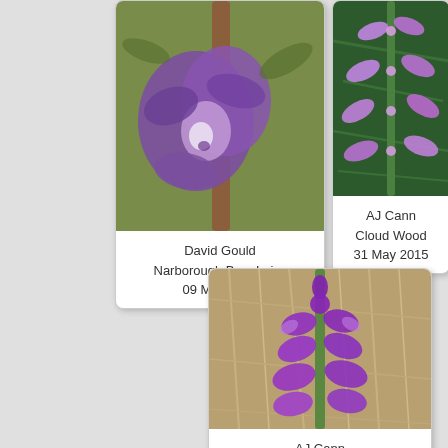[Figure (photo): Close-up of a purple orchid flower (green stems visible), Narborough Bog, Leics, taken by David Gould, 09 May 2016]
David Gould
Narborough Bog, Leics
09 May 2016
[Figure (photo): Purple orchid flowers on a spike against green foliage background, Cloud Wood, taken by AJ Cann, 31 May 2015]
AJ Cann
Cloud Wood
31 May 2015
[Figure (photo): Tall spike of purple orchid flowers against dried grass/straw background, Launde Park Wood, taken by AJ Cann]
AJ Cann
Launde Park Wood